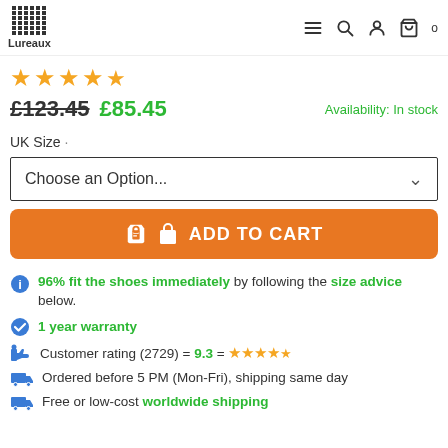Lureaux — navigation header with menu, search, account, cart icons
★★★★½ (star rating)
£123.45 £85.45   Availability: In stock
UK Size
Choose an Option...
ADD TO CART
96% fit the shoes immediately by following the size advice below.
1 year warranty
Customer rating (2729) = 9.3 = ★★★★½
Ordered before 5 PM (Mon-Fri), shipping same day
Free or low-cost worldwide shipping